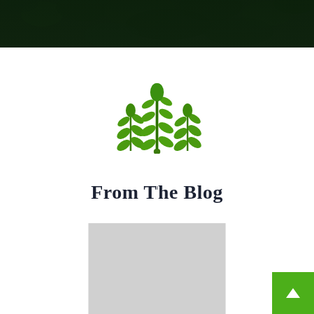[Figure (photo): Dark green foliage/leaves background image used as page header banner]
[Figure (illustration): Three green plant/wheat sprout icons arranged decoratively, center taller than sides]
From The Blog
[Figure (photo): Gray placeholder rectangle for a blog post image]
[Figure (other): Green back-to-top button with white upward arrow chevron in bottom-right corner]